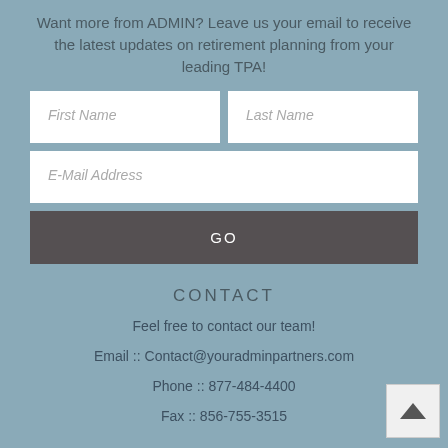Want more from ADMIN? Leave us your email to receive the latest updates on retirement planning from your leading TPA!
[Figure (screenshot): Web form with First Name, Last Name, and E-Mail Address input fields, and a GO button]
CONTACT
Feel free to contact our team!
Email :: Contact@youradminpartners.com
Phone :: 877-484-4400
Fax :: 856-755-3515